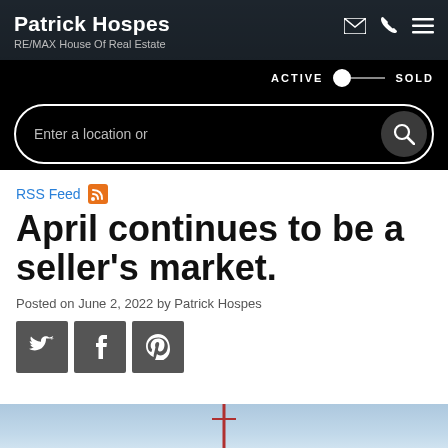Patrick Hospes
RE/MAX House Of Real Estate
ACTIVE  SOLD
Enter a location or
RSS Feed
April continues to be a seller's market.
Posted on June 2, 2022 by Patrick Hospes
[Figure (screenshot): Social share buttons: Twitter, Facebook, Pinterest]
[Figure (photo): Bottom strip showing a light blue sky with an antenna/tower partially visible]